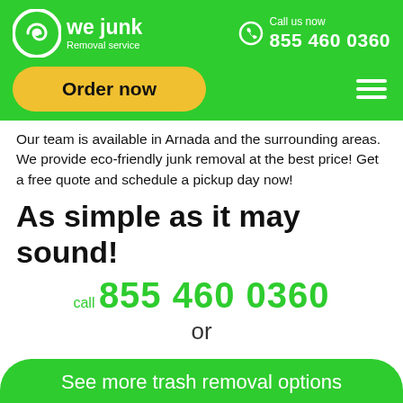[Figure (logo): We Junk Removal Service logo with green spiral icon, white text 'we junk' and 'Removal service' subtitle]
Call us now 855 460 0360
Order now
Our team is available in Arnada and the surrounding areas. We provide eco-friendly junk removal at the best price! Get a free quote and schedule a pickup day now!
As simple as it may sound!
call 855 460 0360
or
See more trash removal options